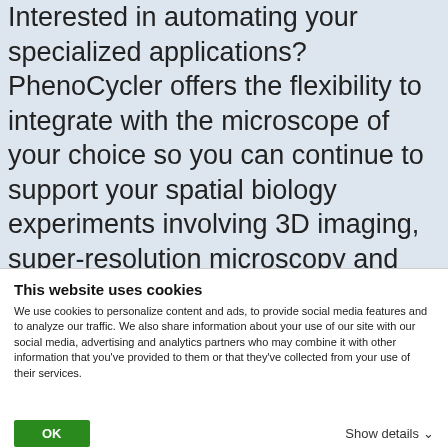Interested in automating your specialized applications? PhenoCycler offers the flexibility to integrate with the microscope of your choice so you can continue to support your spatial biology experiments involving 3D imaging, super-resolution microscopy and more! Learn how our Imaging Innovators (I²) Network is broadening the horizons of spatial biology with the PhenoCycler
This website uses cookies
We use cookies to personalize content and ads, to provide social media features and to analyze our traffic. We also share information about your use of our site with our social media, advertising and analytics partners who may combine it with other information that you've provided to them or that they've collected from your use of their services.
OK
Show details